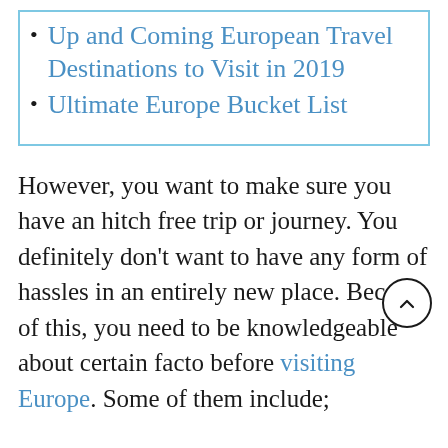Up and Coming European Travel Destinations to Visit in 2019
Ultimate Europe Bucket List
However, you want to make sure you have an hitch free trip or journey. You definitely don’t want to have any form of hassles in an entirely new place. Because of this, you need to be knowledgeable about certain facto before visiting Europe. Some of them include;